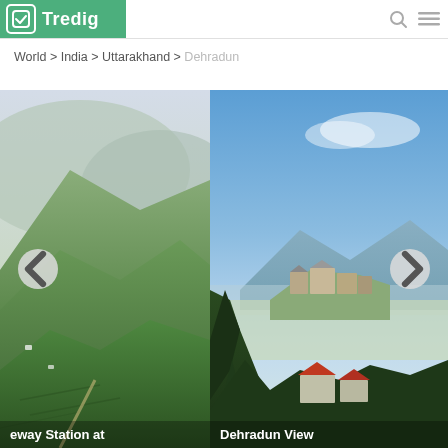Tredig (logo/header bar)
World > India > Uttarakhand > Dehradun
[Figure (photo): Photo of green terraced hillside forested mountains with hazy sky — Gateway Station at (text cut off). Left navigation arrow visible.]
[Figure (photo): Photo of Dehradun panoramic view showing mountains, blue sky, buildings on hilltop, dark green pine trees in foreground and red-roofed buildings below. Right navigation arrow visible.]